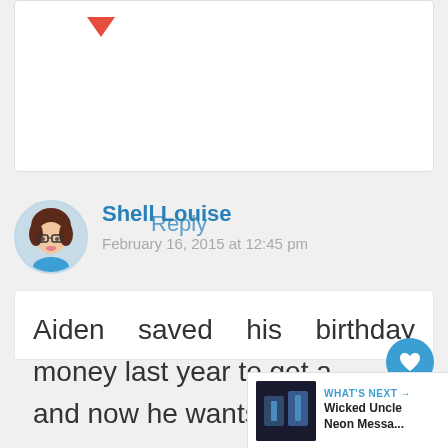[Figure (illustration): Red down-arrow/heart icon partially visible at top of comment box]
Reply
Shell Louise
February 16, 2015 at 12:45 pm
Aiden saved his birthday money last year to get a [DS] and now he wants one of
[Figure (illustration): Floating heart button (blue circle with white heart icon)]
[Figure (illustration): Floating share button (white circle with share icon)]
[Figure (screenshot): What's Next widget showing thumbnail image and text: WHAT'S NEXT → Wicked Uncle Neon Messa...]